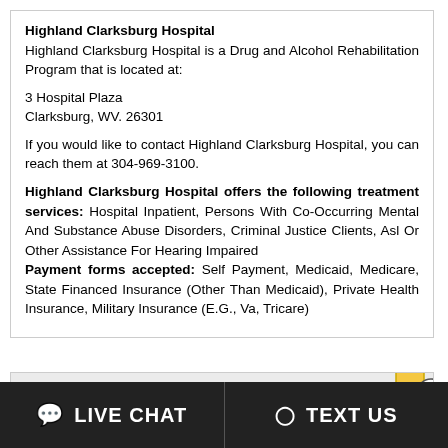Highland Clarksburg Hospital
Highland Clarksburg Hospital is a Drug and Alcohol Rehabilitation Program that is located at:

3 Hospital Plaza
Clarksburg, WV. 26301

If you would like to contact Highland Clarksburg Hospital, you can reach them at 304-969-3100.

Highland Clarksburg Hospital offers the following treatment services: Hospital Inpatient, Persons With Co-Occurring Mental And Substance Abuse Disorders, Criminal Justice Clients, Asl Or Other Assistance For Hearing Impaired
Payment forms accepted: Self Payment, Medicaid, Medicare, State Financed Insurance (Other Than Medicaid), Private Health Insurance, Military Insurance (E.G., Va, Tricare)
[Figure (map): Street map showing area near Highland Clarksburg Hospital, with Lybrook Rd visible and route marker 19.]
LIVE CHAT
TEXT US